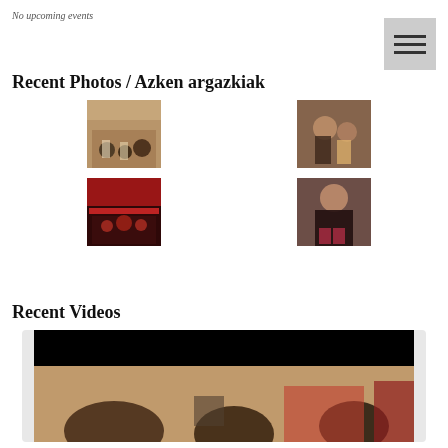No upcoming events
[Figure (other): Hamburger menu icon button (three horizontal lines on grey background)]
Recent Photos / Azken argazkiak
[Figure (photo): Group of children sitting on floor in a hall]
[Figure (photo): Two children sitting together with decorations in background]
[Figure (photo): Group of people at an event with banner in background]
[Figure (photo): Young girl smiling in black top]
Recent Videos
[Figure (screenshot): Video player showing blurry scene with people and dark top bar]